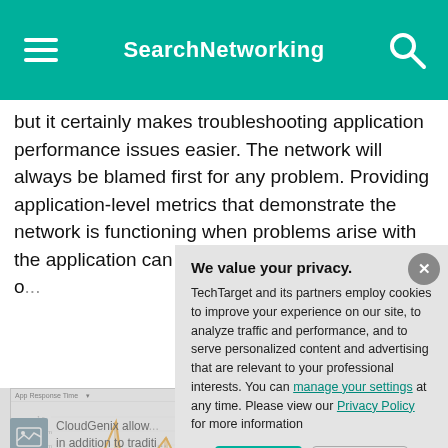SearchNetworking
but it certainly makes troubleshooting application performance issues easier. The network will always be blamed first for any problem. Providing application-level metrics that demonstrate the network is functioning when problems arise with the application can save signific... SaaS provider o...
[Figure (screenshot): Screenshot of App Response Time chart interface showing an orange/amber line chart with timeline data]
CloudGenix allow... in addition to traditi... stem from serve...
We value your privacy. TechTarget and its partners employ cookies to improve your experience on our site, to analyze traffic and performance, and to serve personalized content and advertising that are relevant to your professional interests. You can manage your settings at any time. Please view our Privacy Policy for more information